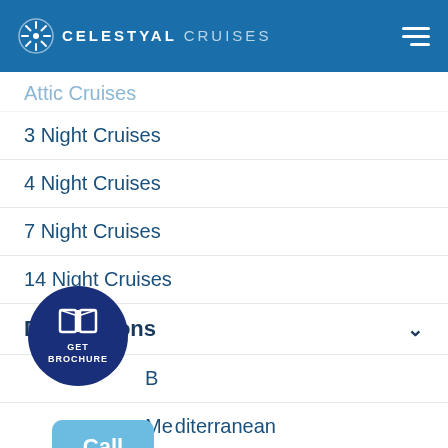CELESTYAL CRUISES
Attic Cruises (partial)
3 Night Cruises
4 Night Cruises
7 Night Cruises
14 Night Cruises
Destinations
B... (partially hidden by GET BROCHURE button)
Mediterranean
Greece and the Greek Islands
Turkey
Egypt